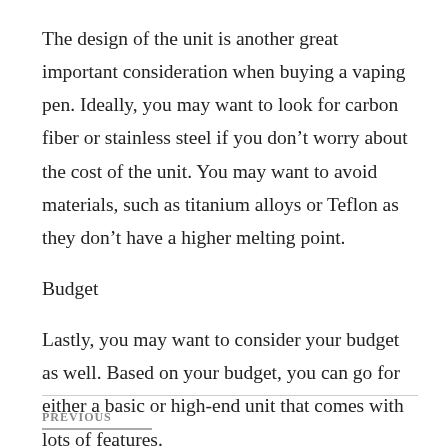The design of the unit is another great important consideration when buying a vaping pen. Ideally, you may want to look for carbon fiber or stainless steel if you don't worry about the cost of the unit. You may want to avoid materials, such as titanium alloys or Teflon as they don't have a higher melting point.
Budget
Lastly, you may want to consider your budget as well. Based on your budget, you can go for either a basic or high-end unit that comes with lots of features.
PREVIOUS